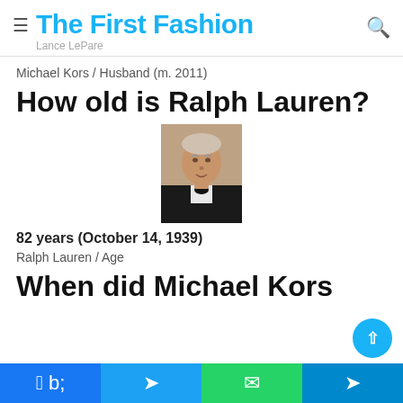The First Fashion — Lance LePore
Michael Kors / Husband (m. 2011)
How old is Ralph Lauren?
[Figure (photo): Portrait photo of Ralph Lauren, an elderly man in a dark suit and bow tie]
82 years (October 14, 1939)
Ralph Lauren / Age
When did Michael Kors